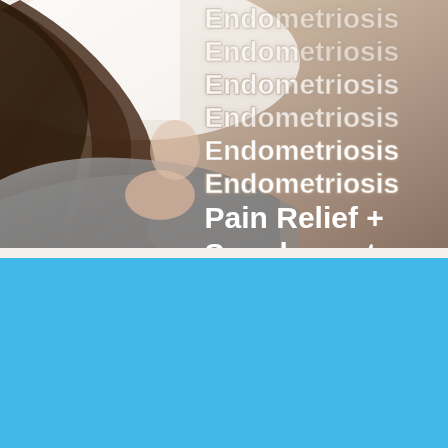[Figure (photo): Woman lying face down on white bedding, wearing a gray long-sleeve top, with dark hair spread out. Overlaid text reads 'Endometriosis' repeated multiple times in decreasing opacity (faded at top, becoming solid), followed by 'Pain Relief + Supplements Guide' in bold white text.]
[Figure (other): Solid sky blue rectangle filling the bottom portion of the page.]